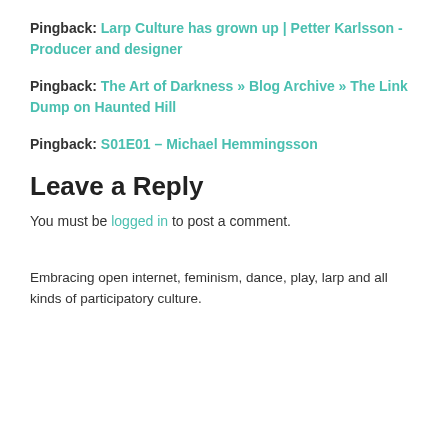Pingback: Larp Culture has grown up | Petter Karlsson - Producer and designer
Pingback: The Art of Darkness » Blog Archive » The Link Dump on Haunted Hill
Pingback: S01E01 – Michael Hemmingsson
Leave a Reply
You must be logged in to post a comment.
Embracing open internet, feminism, dance, play, larp and all kinds of participatory culture.